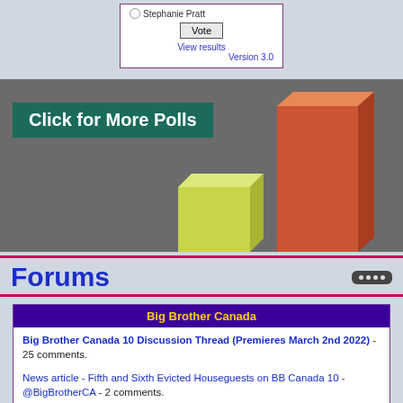[Figure (other): Poll widget showing radio button for Stephanie Pratt, a Vote button, View results link, and Version 3.0 text]
[Figure (other): Banner with dark teal background showing 'Click for More Polls' text and 3D bar chart graphic with yellow-green and orange bars on gray background]
Forums
Big Brother Canada
Big Brother Canada 10 Discussion Thread (Premieres March 2nd 2022) - 25 comments.
News article - Fifth and Sixth Evicted Houseguests on BB Canada 10 - @BigBrotherCA - 2 comments.
News article - Fourth Evicted Houseguest on BB Canada 10 - @BigBrotherCA - 2 comments.